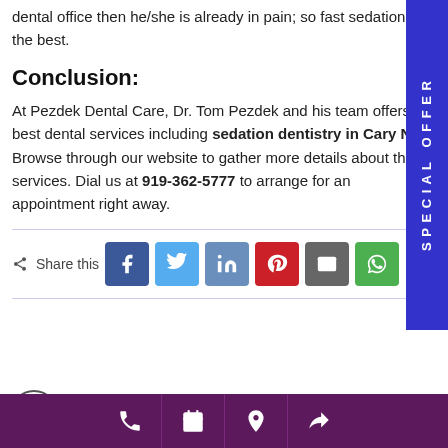dental office then he/she is already in pain; so fast sedation is the best.
Conclusion:
At Pezdek Dental Care, Dr. Tom Pezdek and his team offers the best dental services including sedation dentistry in Cary NC. Browse through our website to gather more details about their services. Dial us at 919-362-5777 to arrange for an appointment right away.
[Figure (infographic): Vertical blue sidebar on right with white text reading SPECIAL OFFER rotated vertically]
[Figure (infographic): Share this row with social media buttons: Facebook, Twitter, LinkedIn, Pinterest, Email, WhatsApp]
[Figure (infographic): Bottom dark purple bar with icons: phone, calendar, location pin, share/forward arrow. Accessibility icon bottom left.]